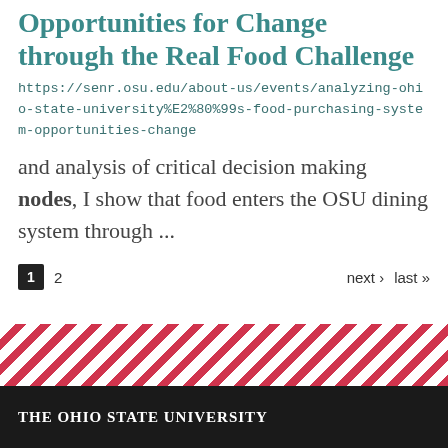Opportunities for Change through the Real Food Challenge
https://senr.osu.edu/about-us/events/analyzing-ohio-state-university%E2%80%99s-food-purchasing-system-opportunities-change
and analysis of critical decision making nodes, I show that food enters the OSU dining system through ...
1  2  next ›  last »
The Ohio State University